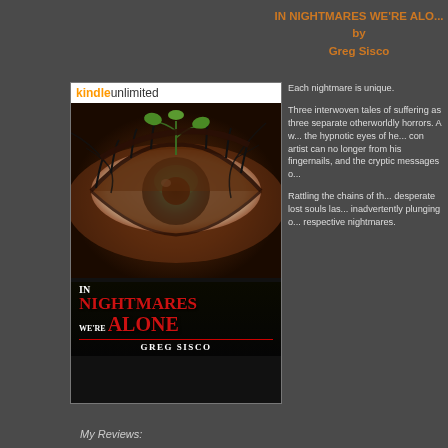IN NIGHTMARES WE'RE ALONE by Greg Sisco
[Figure (illustration): Book cover for 'In Nightmares We're Alone' by Greg Sisco, featuring a close-up of a human eye with teal iris, dark branches, and a small plant growing from it. Kindle Unlimited banner at top. Title text in red and white. Author name at bottom.]
Each nightmare is unique.
Three interwoven tales of suffering as three separate otherworldly horrors. A w... the hypnotic eyes of he... con artist can no longer from his fingernails, and the cryptic messages o...
Rattling the chains of th... desperate lost souls las... inadvertently plunging o... respective nightmares.
My Reviews: